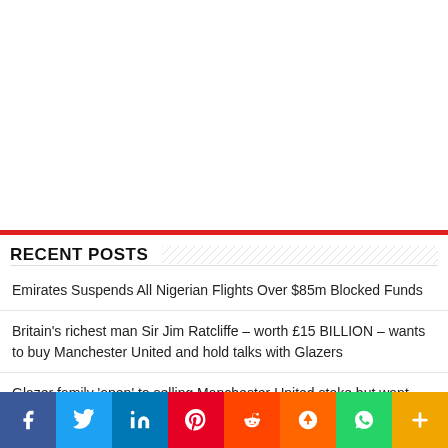[Figure (other): White blank advertisement/image area at the top of the page]
RECENT POSTS
Emirates Suspends All Nigerian Flights Over $85m Blocked Funds
Britain's richest man Sir Jim Ratcliffe – worth £15 BILLION – wants to buy Manchester United and hold talks with Glazers
Glazer family 'open' to selling Manchester United stake but want £5billion
[Figure (other): Social sharing bar with icons for Facebook, Twitter, LinkedIn, Pinterest, Reddit, Mix, WhatsApp, and More (+)]